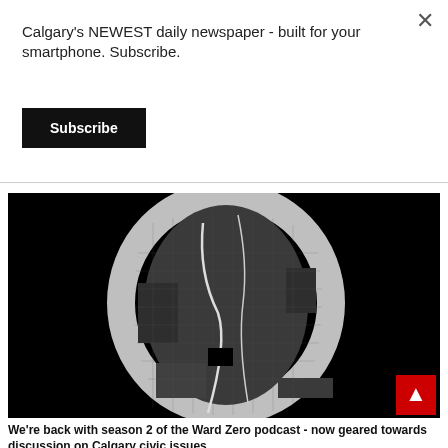Calgary's NEWEST daily newspaper - built for your smartphone. Subscribe.
Subscribe
[Figure (map): A dark map of Calgary showing ward boundaries, with a large oval/ellipse shape highlighted in lighter grey over the city grid on a black background.]
We're back with season 2 of the Ward Zero podcast - now geared towards discussion on Calgary civic issues.